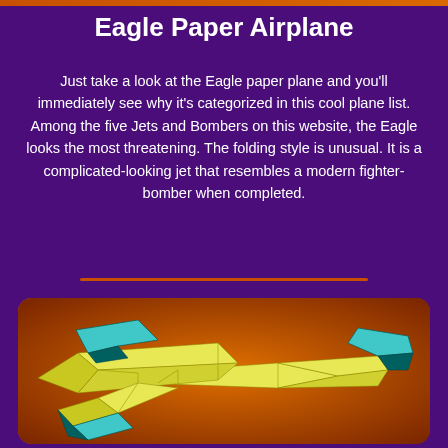Eagle Paper Airplane
Just take a look at the Eagle paper plane and you'll immediately see why it's categorized in this cool plane list. Among the five Jets and Bombers on this website, the Eagle looks the most threatening. The folding style is unusual. It is a complicated-looking jet that resembles a modern fighter-bomber when completed.
[Figure (illustration): 3D illustration of the Eagle paper airplane model showing yellow folded paper sections with cyan/teal colored wing tips and tail fins, displayed against an orange-red gradient background]